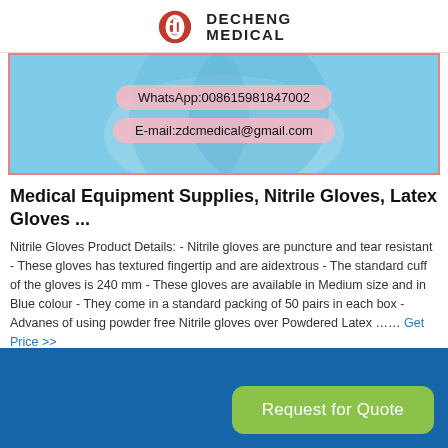DECHENG MEDICAL
[Figure (photo): Product image with contact details overlay showing WhatsApp:008615981847002 and E-mail:zdcmedical@gmail.com on pink pill-shaped badges, blue medical glove background]
Medical Equipment Supplies, Nitrile Gloves, Latex Gloves ...
Nitrile Gloves Product Details: - Nitrile gloves are puncture and tear resistant - These gloves has textured fingertip and are aidextrous - The standard cuff of the gloves is 240 mm - These gloves are available in Medium size and in Blue colour - They come in a standard packing of 50 pairs in each box - Advanes of using powder free Nitrile gloves over Powdered Latex …… Get Price >>
[Figure (other): Blue footer bar with green Request for Quote button]